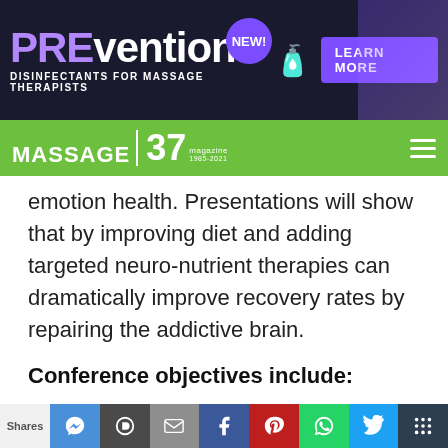[Figure (screenshot): Prevention disinfectants for massage therapists advertisement banner with purple and dark background, spray bottle imagery, NEW! badge, and LEARN MORE button]
[Figure (logo): Massage Magazine logo with number 37 on a green navigation bar]
emotion health. Presentations will show that by improving diet and adding targeted neuro-nutrient therapies can dramatically improve recovery rates by repairing the addictive brain.
Conference objectives include:
Recognizing the spectrum of care included in a holistic approach
Identifying specific studies supporting holistic
Shares | messenger | pushbullet | email | facebook | pinterest | whatsapp | twitter | more